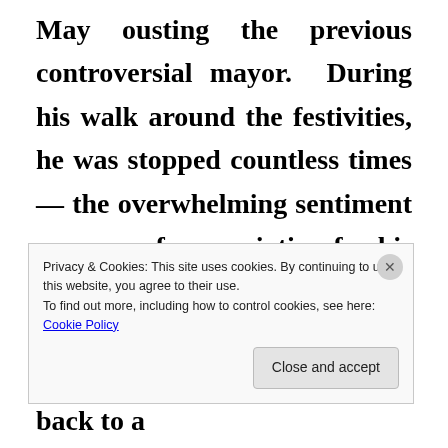May ousting the previous controversial mayor. During his walk around the festivities, he was stopped countless times — the overwhelming sentiment was one of appreciation for his commitment to the community, and his beginning efforts to unify and lead the community back to a
Privacy & Cookies: This site uses cookies. By continuing to use this website, you agree to their use.
To find out more, including how to control cookies, see here: Cookie Policy
Close and accept